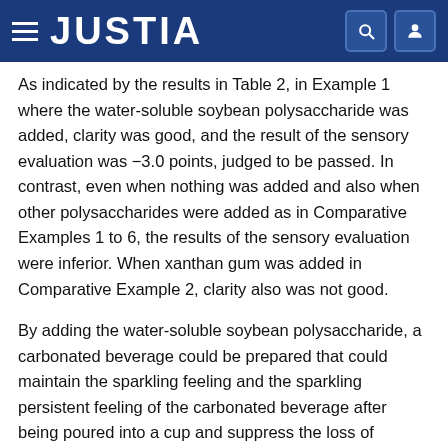JUSTIA
As indicated by the results in Table 2, in Example 1 where the water-soluble soybean polysaccharide was added, clarity was good, and the result of the sensory evaluation was −3.0 points, judged to be passed. In contrast, even when nothing was added and also when other polysaccharides were added as in Comparative Examples 1 to 6, the results of the sensory evaluation were inferior. When xanthan gum was added in Comparative Example 2, clarity also was not good.
By adding the water-soluble soybean polysaccharide, a carbonated beverage could be prepared that could maintain the sparkling feeling and the sparkling persistent feeling of the carbonated beverage after being poured into a cup and suppress the loss of carbonation over time to provide a refreshing feeling.
Examples Applied to Carbonated Water